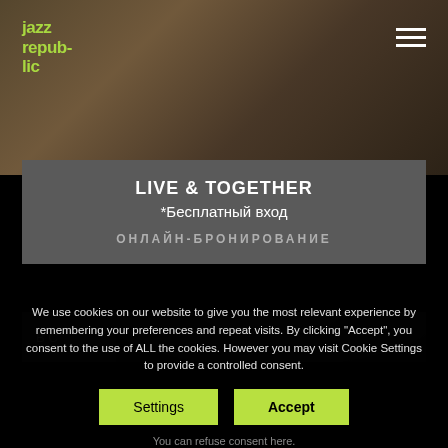[Figure (screenshot): Website screenshot of Jazz Republic with a dark photo of musicians in background]
jazz republic
LIVE & TOGETHER
*Бесплатный вход
ОНЛАЙН-БРОНИРОВАНИЕ
We use cookies on our website to give you the most relevant experience by remembering your preferences and repeat visits. By clicking "Accept", you consent to the use of ALL the cookies. However you may visit Cookie Settings to provide a controlled consent.
Settings
Accept
You can refuse consent here.